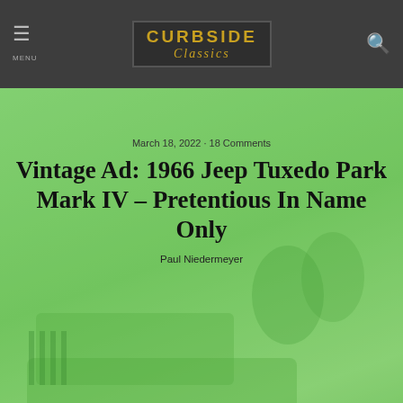Curbside Classics
[Figure (photo): Hero image showing a green 1966 Jeep Tuxedo Park Mark IV with people, overlaid with article title and metadata]
March 18, 2022 · 18 Comments
Vintage Ad: 1966 Jeep Tuxedo Park Mark IV – Pretentious In Name Only
Paul Niedermeyer
Share  Tweet  Pin  Mail  SMS
[Figure (photo): Vintage Jeep advertisement showing the Jeep logo in red italic script on a gold background, with 'Tuxedo Park Mark IV' text below in pink/light red on cream background]